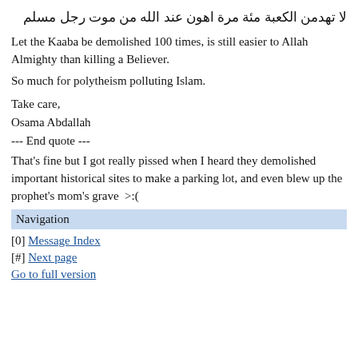لا تهدمن الكعبة مئة مرة اهون عند الله من موت رجل مسلم
Let the Kaaba be demolished 100 times, is still easier to Allah Almighty than killing a Believer.
So much for polytheism polluting Islam.
Take care,
Osama Abdallah
--- End quote ---
That's fine but I got really pissed when I heard they demolished important historical sites to make a parking lot, and even blew up the prophet's mom's grave  >:(
Navigation
[0] Message Index
[#] Next page
Go to full version